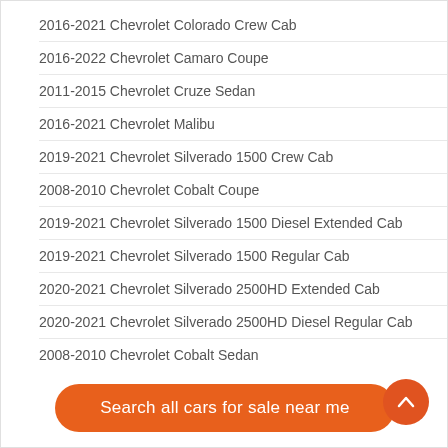2016-2021 Chevrolet Colorado Crew Cab
2016-2022 Chevrolet Camaro Coupe
2011-2015 Chevrolet Cruze Sedan
2016-2021 Chevrolet Malibu
2019-2021 Chevrolet Silverado 1500 Crew Cab
2008-2010 Chevrolet Cobalt Coupe
2019-2021 Chevrolet Silverado 1500 Diesel Extended Cab
2019-2021 Chevrolet Silverado 1500 Regular Cab
2020-2021 Chevrolet Silverado 2500HD Extended Cab
2020-2021 Chevrolet Silverado 2500HD Diesel Regular Cab
2008-2010 Chevrolet Cobalt Sedan
2015-2022 Chevrolet Colorado Crew Cab
2016-2022 Chevrolet Colorado Crew Cab
Search all cars for sale near me